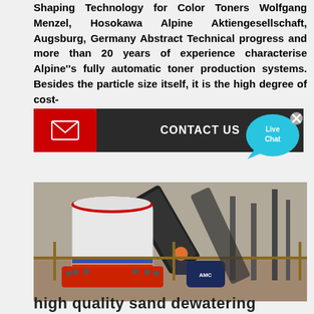Shaping Technology for Color Toners Wolfgang Menzel, Hosokawa Alpine Aktiengesellschaft, Augsburg, Germany Abstract Technical progress and more than 20 years of experience characterise Alpine"s fully automatic toner production systems. Besides the particle size itself, it is the high degree of cost-
[Figure (infographic): Contact Us button with red envelope icon on left and dark grey background with white CONTACT US text on right]
[Figure (illustration): Live Chat speech bubble icon in cyan/blue color with x close button]
[Figure (photo): Industrial machinery photo showing a cone crusher or similar heavy milling equipment (white and red cylinder body with blue stripe) with a worker in helmet visible, conveyor belts and industrial site in background]
high quality sand dewatering